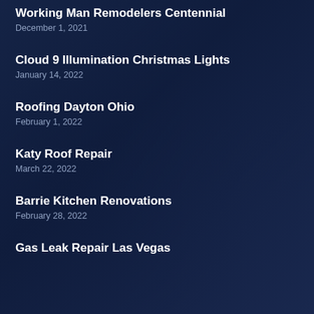Working Man Remodelers Centennial
December 1, 2021
Cloud 9 Illumination Christmas Lights
January 14, 2022
Roofing Dayton Ohio
February 1, 2022
Katy Roof Repair
March 22, 2022
Barrie Kitchen Renovations
February 28, 2022
Gas Leak Repair Las Vegas